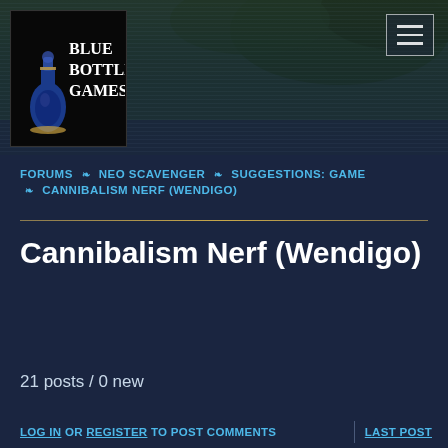[Figure (logo): Blue Bottle Games logo — ornate blue bottle illustration with 'Blue Bottle Games' text on dark background]
FORUMS ❧ NEO SCAVENGER ❧ SUGGESTIONS: GAME ❧ CANNIBALISM NERF (WENDIGO)
Cannibalism Nerf (Wendigo)
21 posts / 0 new
LOG IN OR REGISTER TO POST COMMENTS | LAST POST